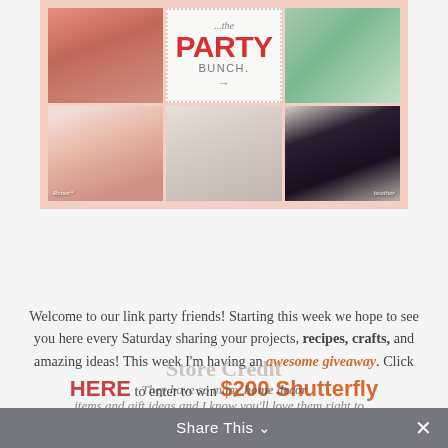[Figure (photo): Party Bunch blog collage image showing a 3x2 grid of photos: top row has a pink dresser/furniture photo, center panel with 'the PARTY BUNCH' text logo with dotted border, and a mint green apple/gift photo; bottom row has three photos of women's faces/portraits and a food photo]
Welcome to our link party friends! Starting this week we hope to see you here every Saturday sharing your projects, recipes, crafts, and amazing ideas! This week I'm having an awesome giveaway. Click HERE to enter to win $200 Shutterfly Store Credit They have so many home decor items and gift ideas and I know you'll love them right to...
Share This ∨  ✕